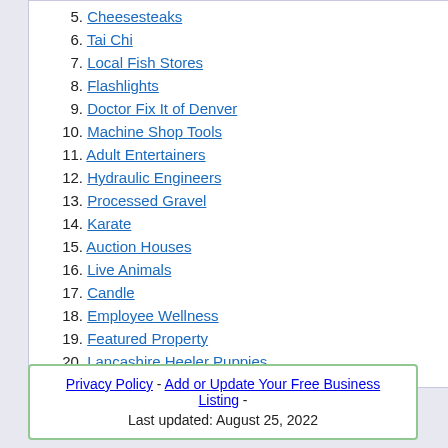5. Cheesesteaks
6. Tai Chi
7. Local Fish Stores
8. Flashlights
9. Doctor Fix It of Denver
10. Machine Shop Tools
11. Adult Entertainers
12. Hydraulic Engineers
13. Processed Gravel
14. Karate
15. Auction Houses
16. Live Animals
17. Candle
18. Employee Wellness
19. Featured Property
20. Lancashire Heeler Puppies
Privacy Policy - Add or Update Your Free Business Listing - Last updated: August 25, 2022